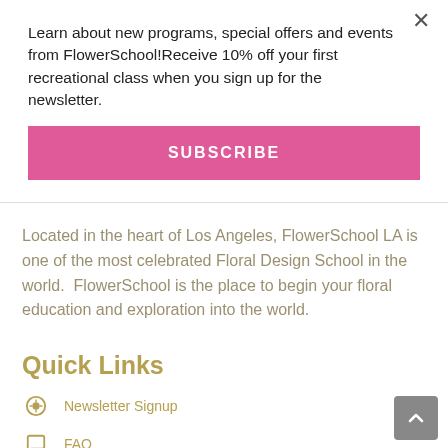Learn about new programs, special offers and events from FlowerSchool!Receive 10% off your first recreational class when you sign up for the newsletter.
SUBSCRIBE
Located in the heart of Los Angeles, FlowerSchool LA is one of the most celebrated Floral Design School in the world.  FlowerSchool is the place to begin your floral education and exploration into the world.
Quick Links
Newsletter Signup
FAQ
Gift Card